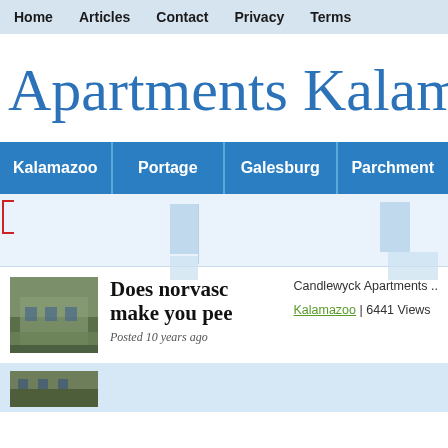Home | Articles | Contact | Privacy | Terms
Apartments Kalamazoo
Kalamazoo | Portage | Galesburg | Parchment
Candlewyck Apartments ..
Does norvasc make you pee
Posted 10 years ago
Kalamazoo | 6441 Views